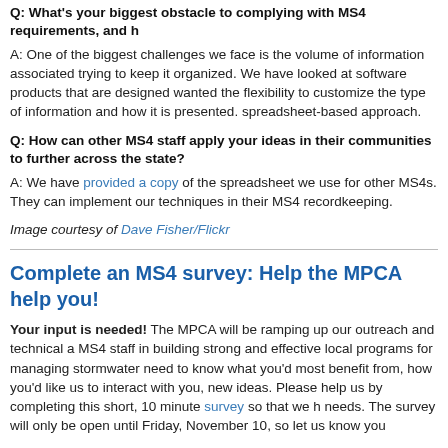Q: What's your biggest obstacle to complying with MS4 requirements, and h
A: One of the biggest challenges we face is the volume of information associated trying to keep it organized. We have looked at software products that are designed wanted the flexibility to customize the type of information and how it is presented. spreadsheet-based approach.
Q: How can other MS4 staff apply your ideas in their communities to further across the state?
A: We have provided a copy of the spreadsheet we use for other MS4s. They can implement our techniques in their MS4 recordkeeping.
Image courtesy of Dave Fisher/Flickr
Complete an MS4 survey: Help the MPCA help you!
Your input is needed! The MPCA will be ramping up our outreach and technical MS4 staff in building strong and effective local programs for managing stormwater need to know what you'd most benefit from, how you'd like us to interact with you, new ideas. Please help us by completing this short, 10 minute survey so that we h needs. The survey will only be open until Friday, November 10, so let us know you